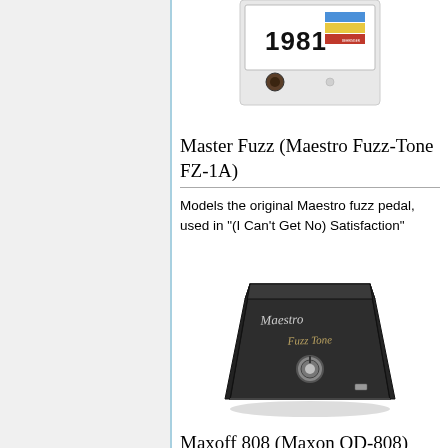[Figure (photo): Partial image of a device labeled '1981' with colored stripes and a knob, on white background]
Master Fuzz (Maestro Fuzz-Tone FZ-1A)
Models the original Maestro fuzz pedal, used in "(I Can't Get No) Satisfaction"
[Figure (photo): Photo of a Maestro Fuzz-Tone guitar effects pedal, dark colored box with knob on top]
Maxoff 808 (Maxon OD-808)
Models the Maxon OD-808 overdrive, a